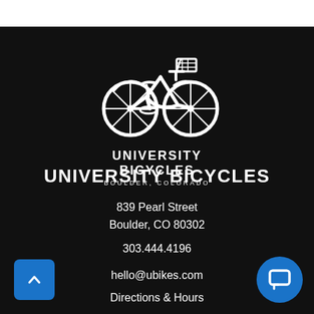[Figure (logo): University Bicycles logo — white line-art illustration of a classic step-through city bicycle with front basket, on black background, with 'UNIVERSITY BICYCLES' in bold caps and 'BOULDER, COLORADO' in small spaced caps below]
UNIVERSITY BICYCLES
839 Pearl Street
Boulder, CO 80302
303.444.4196
hello@ubikes.com
Directions & Hours